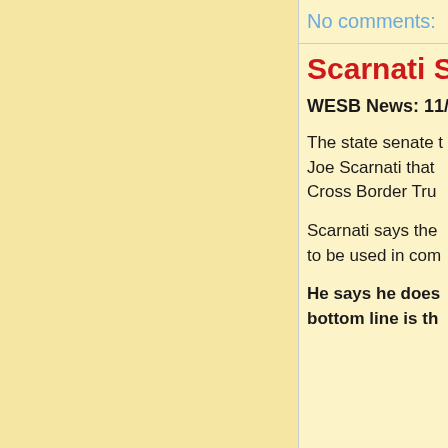No comments:
Scarnati S
WESB News: 11/
The state senate t Joe Scarnati that Cross Border Tru
Scarnati says the to be used in com
He says he does bottom line is th